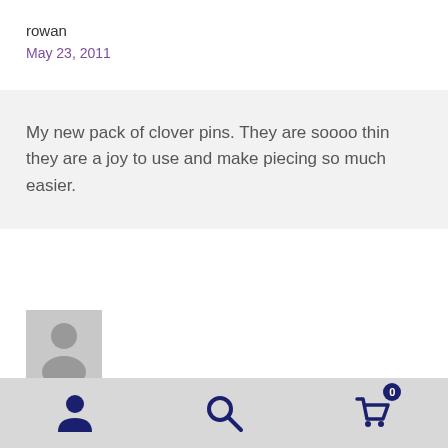rowan
May 23, 2011
My new pack of clover pins. They are soooo thin they are a joy to use and make piecing so much easier.
[Figure (illustration): Default user avatar placeholder - grey silhouette of a person on grey background]
[Figure (infographic): Bottom navigation bar with user account icon, search icon, and shopping cart icon with badge showing 0]